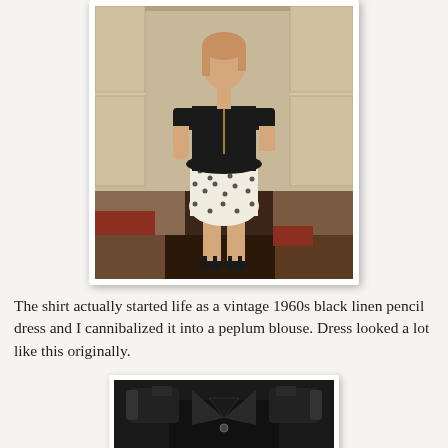[Figure (photo): Photo of a woman wearing a black peplum blouse with a white and black polka dot skirt and black sandals, standing on a tiled floor in front of a wall with cabinets. The photo has a white Polaroid-style border.]
The shirt actually started life as a vintage 1960s black linen pencil dress and I cannibalized it into a peplum blouse. Dress looked a lot like this originally.
[Figure (photo): Photo of a black vintage 1960s dress laid flat, showing the upper bodice with short structured sleeves and a button at the center front neckline.]